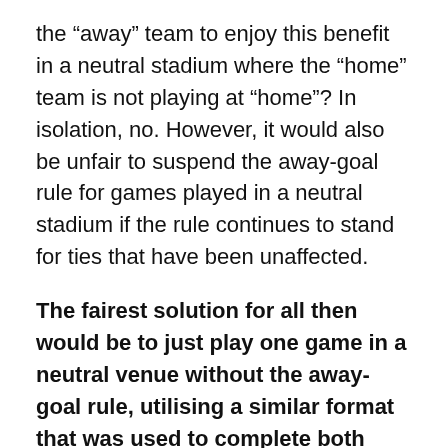the “away” team to enjoy this benefit in a neutral stadium where the “home” team is not playing at “home”? In isolation, no. However, it would also be unfair to suspend the away-goal rule for games played in a neutral stadium if the rule continues to stand for ties that have been unaffected.
The fairest solution for all then would be to just play one game in a neutral venue without the away-goal rule, utilising a similar format that was used to complete both UEFA competitions for the 2019-20 season. Yet UEFA seemed reluctant to employ this strategy due to TV constraints. Companies spend huge sums of money to win the broadcasting rights for the knockout stages. If each tie were reduced from two matches to one, it would